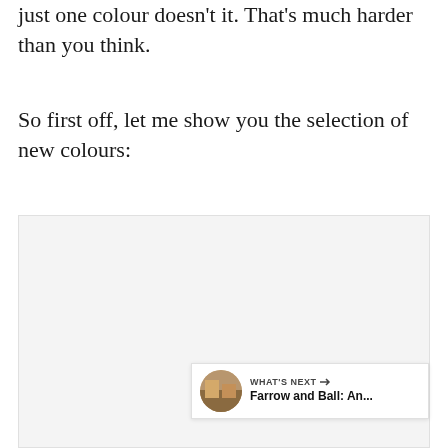just one colour doesn't it. That's much harder than you think.
So first off, let me show you the selection of new colours:
[Figure (other): Light gray image placeholder area showing a colour selection, partially visible at bottom of page. Overlaid with social interaction UI: a teal heart button, a count of 264, a teal share button, and a 'What's Next' banner showing 'Farrow and Ball: An...' with a thumbnail.]